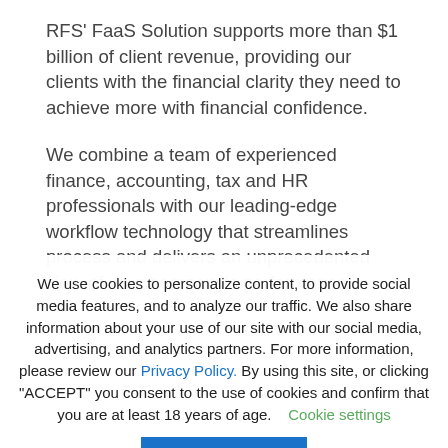RFS' FaaS Solution supports more than $1 billion of client revenue, providing our clients with the financial clarity they need to achieve more with financial confidence.
We combine a team of experienced finance, accounting, tax and HR professionals with our leading-edge workflow technology that streamlines process and delivers an unprecedented view of your company's performance.
We use cookies to personalize content, to provide social media features, and to analyze our traffic. We also share information about your use of our site with our social media, advertising, and analytics partners. For more information, please review our Privacy Policy. By using this site, or clicking "ACCEPT" you consent to the use of cookies and confirm that you are at least 18 years of age.   Cookie settings